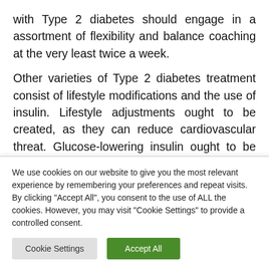with Type 2 diabetes should engage in a assortment of flexibility and balance coaching at the very least twice a week.
Other varieties of Type 2 diabetes treatment consist of lifestyle modifications and the use of insulin. Lifestyle adjustments ought to be created, as they can reduce cardiovascular threat. Glucose-lowering insulin ought to be paired with life-style changes, and metformin should be utilized as monotherapy. The selection of a drug needs to
We use cookies on our website to give you the most relevant experience by remembering your preferences and repeat visits. By clicking "Accept All", you consent to the use of ALL the cookies. However, you may visit "Cookie Settings" to provide a controlled consent.